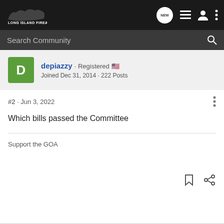Long Island Firearms
Search Community
depiazzy · Registered 🇺🇸
Joined Dec 31, 2014 · 222 Posts
#2 · Jun 3, 2022
Which bills passed the Committee
Support the GOA